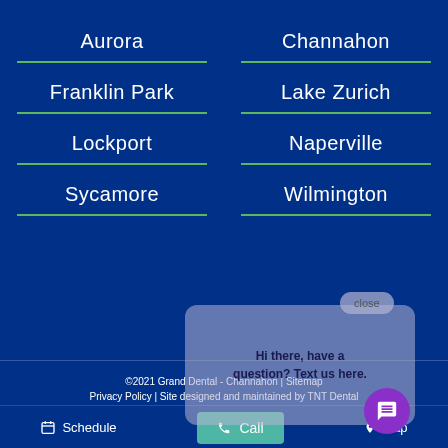Aurora
Channahon
Franklin Park
Lake Zurich
Lockport
Naperville
Sycamore
Wilmington
©2021 Grand Dental - Channahon | Sitemap Privacy Policy | Site designed and maintained by TNT Dental